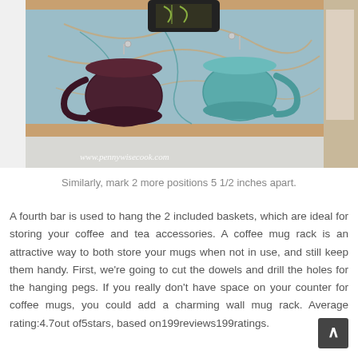[Figure (photo): Photo of a coffee mug rack with multiple mugs hanging from hooks on a decorative board between kitchen cabinets. Mugs include a dark brown/maroon mug and a teal/turquoise mug. A watermark reads www.pennywisecook.com.]
Similarly, mark 2 more positions 5 1/2 inches apart.
A fourth bar is used to hang the 2 included baskets, which are ideal for storing your coffee and tea accessories. A coffee mug rack is an attractive way to both store your mugs when not in use, and still keep them handy. First, we're going to cut the dowels and drill the holes for the hanging pegs. If you really don't have space on your counter for coffee mugs, you could add a charming wall mug rack. Average rating:4.7out of5stars, based on199reviews199ratings.